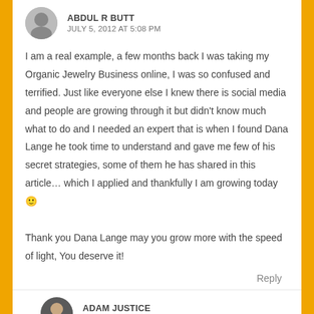ABDUL R BUTT
JULY 5, 2012 AT 5:08 PM
I am a real example, a few months back I was taking my Organic Jewelry Business online, I was so confused and terrified. Just like everyone else I knew there is social media and people are growing through it but didn't know much what to do and I needed an expert that is when I found Dana Lange he took time to understand and gave me few of his secret strategies, some of them he has shared in this article… which I applied and thankfully I am growing today 🙂

Thank you Dana Lange may you grow more with the speed of light, You deserve it!
Reply
ADAM JUSTICE
JULY 6, 2012 AT 2:42 AM